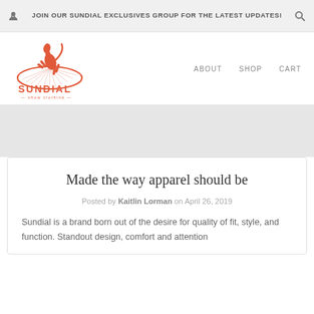JOIN OUR SUNDIAL EXCLUSIVES GROUP FOR THE LATEST UPDATES!
[Figure (logo): Sundial Show Clothing logo — a rearing horse inside an oval, with the text SUNDIAL and show clothing below]
ABOUT   SHOP   CART
Made the way apparel should be
Posted by Kaitlin Lorman on April 26, 2019
Sundial is a brand born out of the desire for quality of fit, style, and function. Standout design, comfort and attention